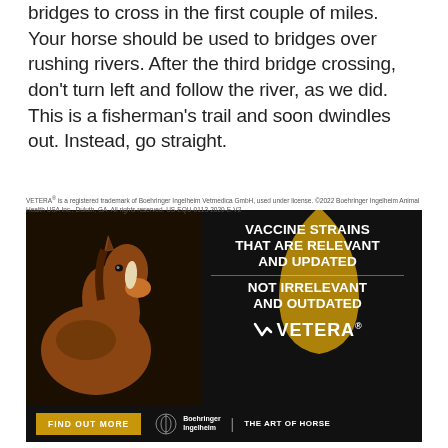bridges to cross in the first couple of miles. Your horse should be used to bridges over rushing rivers. After the third bridge crossing, don't turn left and follow the river, as we did. This is a fisherman's trail and soon dwindles out. Instead, go straight.
[Figure (illustration): Advertisement for VETERA horse vaccine. Dark background with a horse head on the left, a gold teardrop shape in the upper right, white bold text reading 'VACCINE STRAINS THAT ARE RELEVANT AND UPDATED' then 'NOT IRRELEVANT AND OUTDATED', VETERA logo, a gold 'FIND OUT MORE' button, Boehringer Ingelheim logo and 'THE ART OF HORSE' text at the bottom.]
VETERA® is a registered trademark of Boehringer Ingelheim Vetmedica GmbH, used under license. ©2022 Boehringer Ingelheim Animal Health USA Inc., Duluth, GA. All rights reserved. US-EQU-0113-2020-E-V2